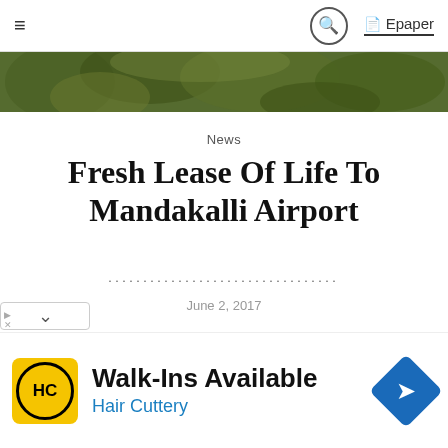≡  🔍  Epaper
[Figure (photo): Green foliage/trees photo strip at the top of the article page]
News
Fresh Lease Of Life To Mandakalli Airport
June 2, 2017
Mysuru: The jinxed Mandakalli airport is again getting a fresh lease of life. With the introduction of flight operations from Mysuru to Chennai from September, under the Regional
[Figure (infographic): Advertisement banner: Walk-Ins Available Hair Cuttery with logo and arrow icon]